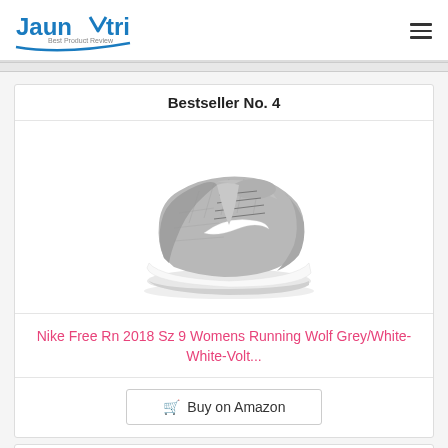Jaunatri Best Product Review
Bestseller No. 4
[Figure (photo): Nike Free Rn 2018 running shoe in Wolf Grey/White colorway, shown from the side angle on a white background]
Nike Free Rn 2018 Sz 9 Womens Running Wolf Grey/White-White-Volt...
Buy on Amazon